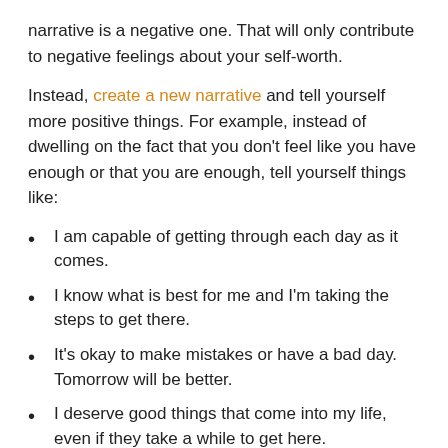narrative is a negative one. That will only contribute to negative feelings about your self-worth.
Instead, create a new narrative and tell yourself more positive things. For example, instead of dwelling on the fact that you don't feel like you have enough or that you are enough, tell yourself things like:
I am capable of getting through each day as it comes.
I know what is best for me and I'm taking the steps to get there.
It's okay to make mistakes or have a bad day. Tomorrow will be better.
I deserve good things that come into my life, even if they take a while to get here.